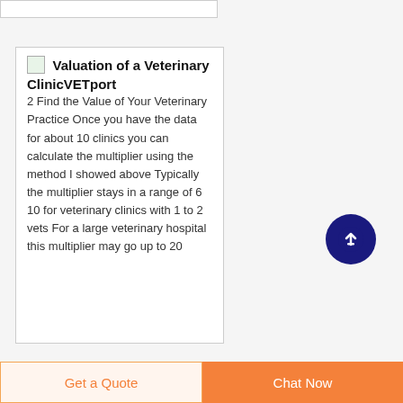Valuation of a Veterinary ClinicVETport
2 Find the Value of Your Veterinary Practice Once you have the data for about 10 clinics you can calculate the multiplier using the method I showed above Typically the multiplier stays in a range of 6 10 for veterinary clinics with 1 to 2 vets For a large veterinary hospital this multiplier may go up to 20
Get a Quote | Chat Now